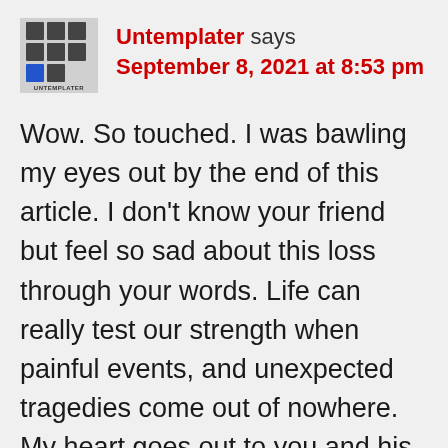[Figure (logo): Untemplater logo: a grid of dark grey squares with a blue square in the lower left, with the text UNTEMPLATER below]
Untemplater says
September 8, 2021 at 8:53 pm
Wow. So touched. I was bawling my eyes out by the end of this article. I don't know your friend but feel so sad about this loss through your words. Life can really test our strength when painful events, and unexpected tragedies come out of nowhere. My heart goes out to you and his family.
I need a box of tissues now and hugs from my family. We must treasure every minute we have even the hard ones and